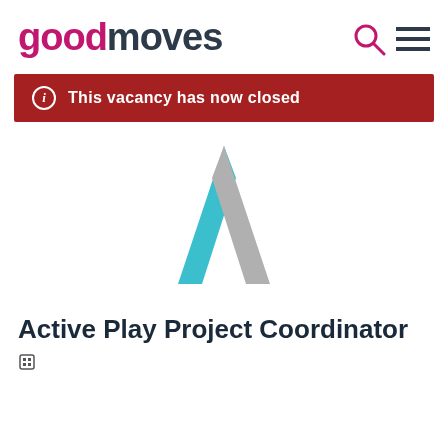[Figure (logo): goodmoves logo with search and menu icons in header]
This vacancy has now closed
[Figure (logo): Active Play / organization logo: a stylized letter A made of a teal left stroke and a grey right stroke]
Active Play Project Coordinator